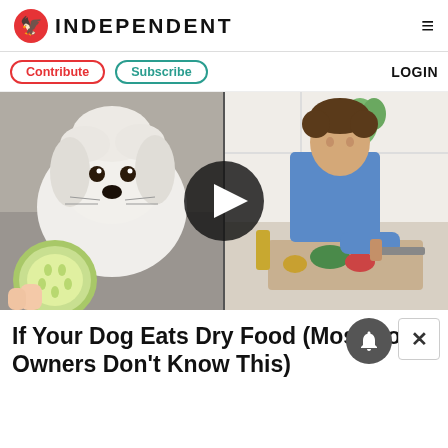INDEPENDENT
Contribute  Subscribe  LOGIN
[Figure (screenshot): Split video thumbnail: left side shows a small white fluffy dog (Maltese) looking at camera with a cucumber slice held in front; right side shows a man in blue shirt chopping vegetables on a cutting board. A dark circular play button is centered over the split.]
If Your Dog Eats Dry Food (Most Dog Owners Don't Know This)